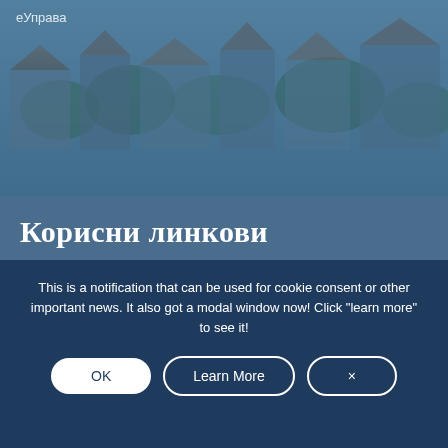[Figure (photo): Aerial/cityscape photo of rooftops and trees with blue-grey overlay, government portal website header image]
еУправа
Корисни линкови
Министарство државне управе и локалне самоуправе Републике Србије
Exchange
ДАТОС
This is a notification that can be used for cookie consent or other important news. It also got a modal window now! Click "learn more" to see it!